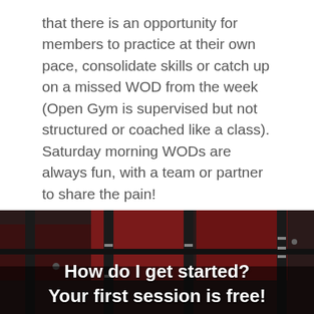that there is an opportunity for members to practice at their own pace, consolidate skills or catch up on a missed WOD from the week (Open Gym is supervised but not structured or coached like a class). Saturday morning WODs are always fun, with a team or partner to share the pain!
[Figure (photo): Dark gym interior showing vertical barbell storage rack with red wall panels in the background]
How do I get started? Your first session is free!